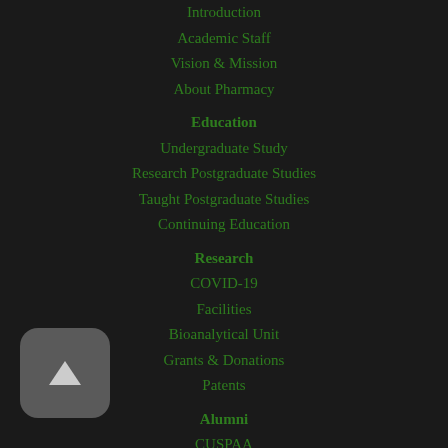Introduction
Academic Staff
Vision & Mission
About Pharmacy
Education
Undergraduate Study
Research Postgraduate Studies
Taught Postgraduate Studies
Continuing Education
Research
COVID-19
Facilities
Bioanalytical Unit
Grants & Donations
Patents
Alumni
CUSPAA
Alumni Contact Update
Alumni Sharing
Events
What's New
Contact Us